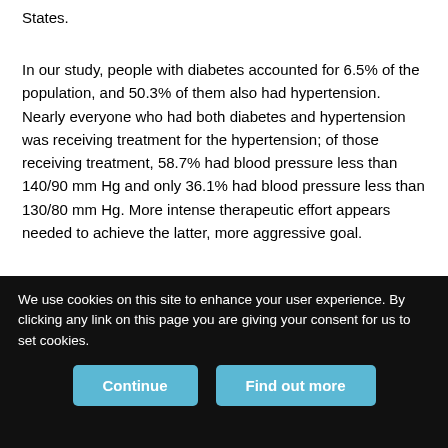States.
In our study, people with diabetes accounted for 6.5% of the population, and 50.3% of them also had hypertension. Nearly everyone who had both diabetes and hypertension was receiving treatment for the hypertension; of those receiving treatment, 58.7% had blood pressure less than 140/90 mm Hg and only 36.1% had blood pressure less than 130/80 mm Hg. More intense therapeutic effort appears needed to achieve the latter, more aggressive goal.
The improvement in control rates achieved in Ontario in recent years is comparable to those achieved in community-based clinical trials such as ALLHAT.17 and those achieved in the US Veterans' Administration system.18 Further improvements are still essential if
We use cookies on this site to enhance your user experience. By clicking any link on this page you are giving your consent for us to set cookies.